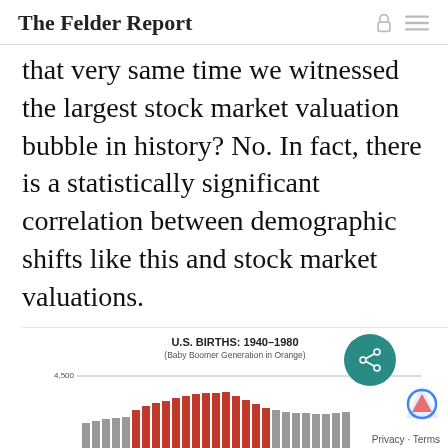The Felder Report
that very same time we witnessed the largest stock market valuation bubble in history? No. In fact, there is a statistically significant correlation between demographic shifts like this and stock market valuations.
[Figure (bar-chart): Bar chart showing U.S. births from 1940 to 1980, with Baby Boomer generation highlighted in orange. Y-axis shows value of 4,500. Bars are partially visible at bottom of page.]